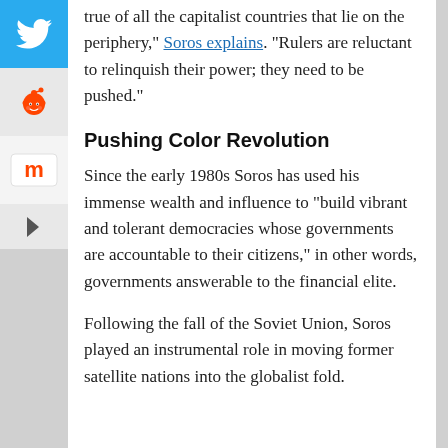true of all the capitalist countries that lie on the periphery," Soros explains. "Rulers are reluctant to relinquish their power; they need to be pushed."
Pushing Color Revolution
Since the early 1980s Soros has used his immense wealth and influence to “build vibrant and tolerant democracies whose governments are accountable to their citizens,” in other words, governments answerable to the financial elite.
Following the fall of the Soviet Union, Soros played an instrumental role in moving former satellite nations into the globalist fold.